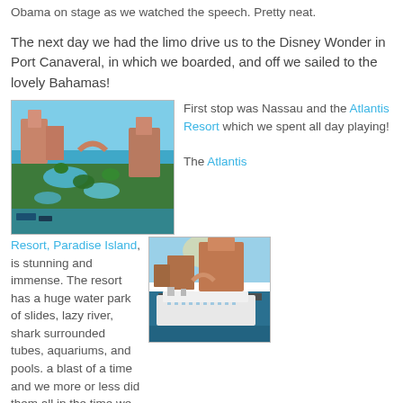Obama on stage as we watched the speech. Pretty neat.
The next day we had the limo drive us to the Disney Wonder in Port Canaveral, in which we boarded, and off we sailed to the lovely Bahamas!
[Figure (photo): Aerial view of Atlantis Resort in Nassau, Bahamas, showing the resort buildings, water park, and ocean]
First stop was Nassau and the Atlantis Resort which we spent all day playing!

The Atlantis
Resort, Paradise Island, is stunning and immense. The resort has a huge water park of slides, lazy river, shark surrounded tubes, aquariums, and pools. a blast of a time and we more or less did them all in the time we had.
[Figure (photo): Photo of Atlantis Resort Paradise Island with a cruise ship in the foreground at the dock]